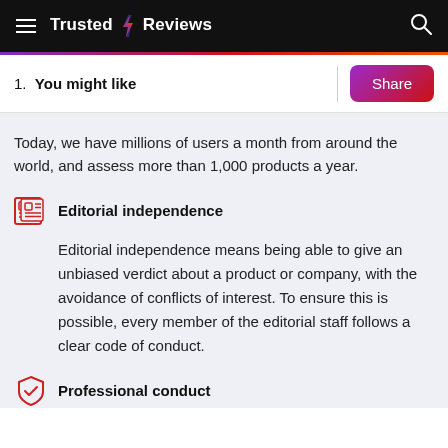Trusted Reviews
1. You might like
Today, we have millions of users a month from around the world, and assess more than 1,000 products a year.
Editorial independence
Editorial independence means being able to give an unbiased verdict about a product or company, with the avoidance of conflicts of interest. To ensure this is possible, every member of the editorial staff follows a clear code of conduct.
Professional conduct